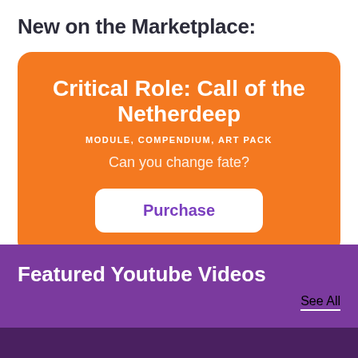New on the Marketplace:
[Figure (infographic): Orange card promoting 'Critical Role: Call of the Netherdeep' module, compendium, art pack with tagline 'Can you change fate?' and a Purchase button]
Featured Youtube Videos
See All